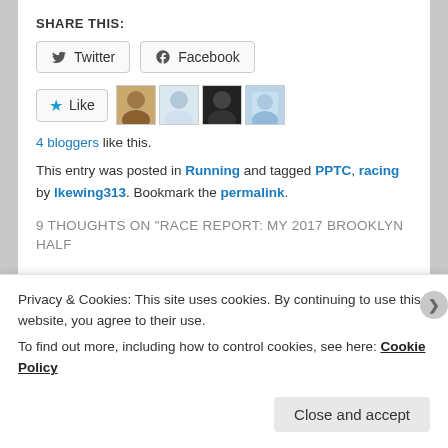SHARE THIS:
[Figure (screenshot): Share buttons for Twitter and Facebook]
[Figure (screenshot): Like button with 4 blogger avatars]
4 bloggers like this.
This entry was posted in Running and tagged PPTC, racing by lkewing313. Bookmark the permalink.
9 THOUGHTS ON "RACE REPORT: MY 2017 BROOKLYN HALF EXPERIMENT"
[Figure (screenshot): Comment area with logo]
Privacy & Cookies: This site uses cookies. By continuing to use this website, you agree to their use.
To find out more, including how to control cookies, see here: Cookie Policy